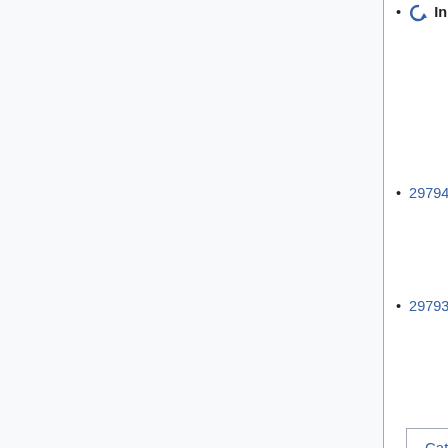In progress Investigate phab:T140156 ("CentralAuth 'Invalid key type: NULL'")
297946 Detach accounts during global rename
297936 Cleanup localuser records when wiki is missing data
Category:  Incident documentation
This page was last edited on 8 April 2022, at 17:45.
Content is available under Creative Commons Attribution Share Alike unless otherwise noted. By using Wikimedia Labs, you agree to the Labs Terms of Use.
Privacy policy   About Wikitech-static
Disclaimers